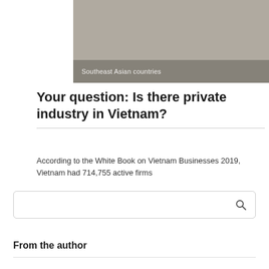[Figure (photo): Gray/beige image area representing Southeast Asian countries photo, with a semi-transparent overlay at the bottom showing caption text]
Southeast Asian countries   ◯ 0
Your question: Is there private industry in Vietnam?
According to the White Book on Vietnam Businesses 2019, Vietnam had 714,755 active firms
[Figure (other): Search input box with search icon]
From the author